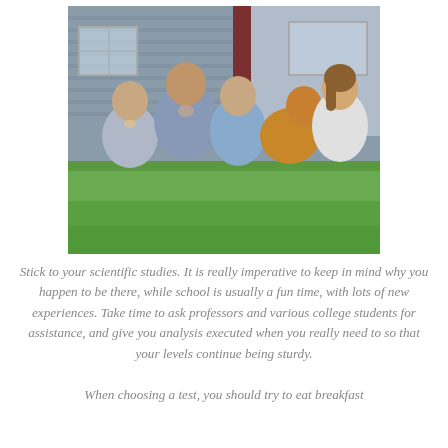[Figure (photo): A smiling family of four — two adults and two teenage boys — sitting on green grass in front of a modern house, along with a golden retriever dog. The father has his arms around everyone, and the woman on the right is hugging the dog.]
Stick to your scientific studies. It is really imperative to keep in mind why you happen to be there, while school is usually a fun time, with lots of new experiences. Take time to ask professors and various college students for assistance, and give you analysis executed when you really need to so that your levels continue being sturdy.
When choosing a test, you should try to eat breakfast